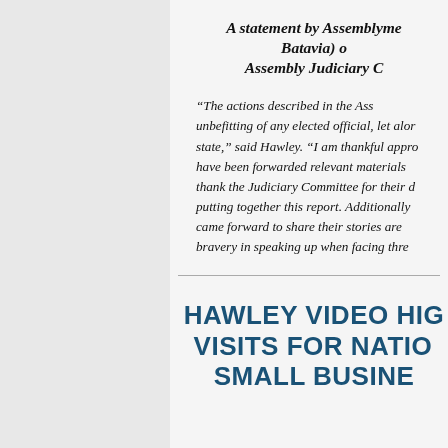A statement by Assemblyman Hawley (R,C,I-Batavia) on the Assembly Judiciary Committee Report
“The actions described in the Assembly report are unbefitting of any elected official, let alone the leader of our state,” said Hawley. “I am thankful appropriate authorities have been forwarded relevant materials and I want to personally thank the Judiciary Committee for their diligent work in putting together this report. Additionally, the women who came forward to share their stories are to be commended for their bravery in speaking up when facing threats.”
HAWLEY VIDEO HIGHLIGHTS VISITS FOR NATIONAL SMALL BUSINESS WEEK